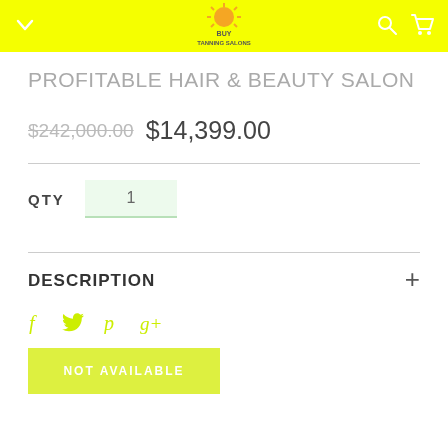Buy Tanning Salons
PROFITABLE HAIR & BEAUTY SALON
$242,000.00  $14,399.00
QTY  1
DESCRIPTION
Social icons: Facebook, Twitter, Pinterest, Google+
NOT AVAILABLE